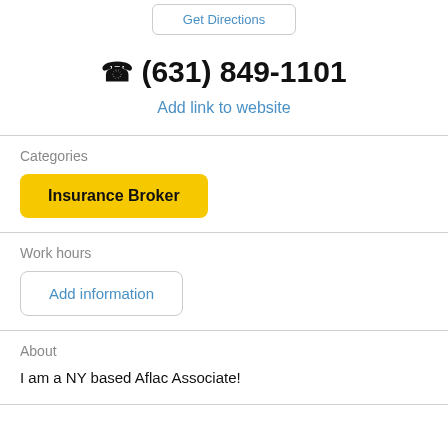Get Directions
☎ (631) 849-1101
Add link to website
Categories
Insurance Broker
Work hours
Add information
About
I am a NY based Aflac Associate!